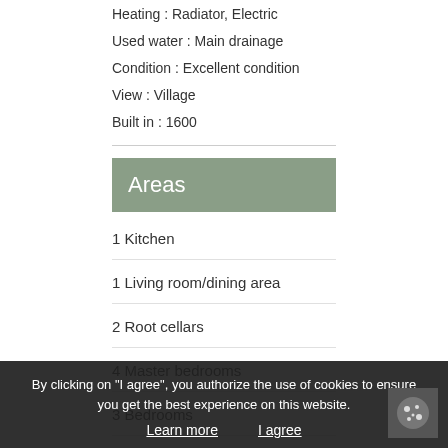Heating : Radiator, Electric
Used water : Main drainage
Condition : Excellent condition
View : Village
Built in : 1600
Areas
1 Kitchen
1 Living room/dining area
2 Root cellars
4 Master bedrooms
3 Bedrooms
2 Shower rooms
2 Bathrooms
1 Mezzanine
By clicking on "I agree", you authorize the use of cookies to ensure you get the best experience on this website.